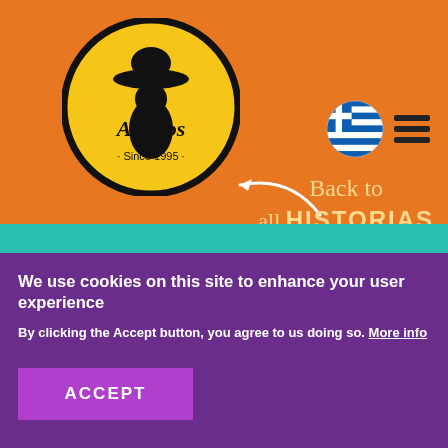[Figure (logo): Amigos Since 1995 restaurant logo — circular black border, yellow background, silhouette of person with sombrero]
[Figure (infographic): Greek flag circle icon and hamburger menu icon on orange background]
Back to all HISTORIAS
[Figure (photo): Teal/green background with blurred food items — appears to show a camera on a stick and pink/red food item]
We use cookies on this site to enhance your user experience
By clicking the Accept button, you agree to us doing so. More info
ACCEPT